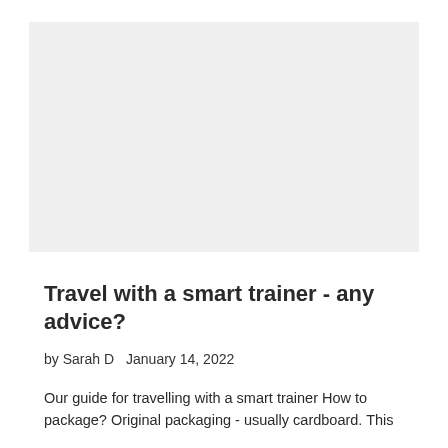[Figure (photo): Large gray placeholder image at the top of the page]
Travel with a smart trainer - any advice?
by Sarah D   January 14, 2022
Our guide for travelling with a smart trainer How to package? Original packaging - usually cardboard. This